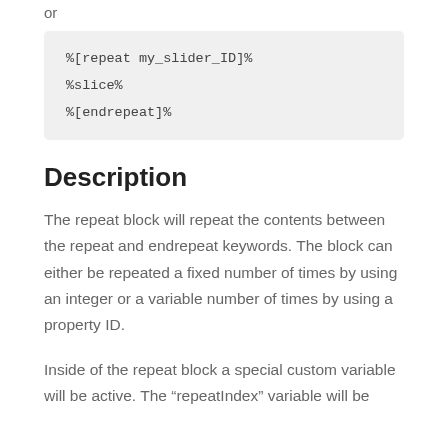or
%[repeat my_slider_ID]%
%slice%
%[endrepeat]%
Description
The repeat block will repeat the contents between the repeat and endrepeat keywords. The block can either be repeated a fixed number of times by using an integer or a variable number of times by using a property ID.
Inside of the repeat block a special custom variable will be active. The “repeatIndex” variable will be